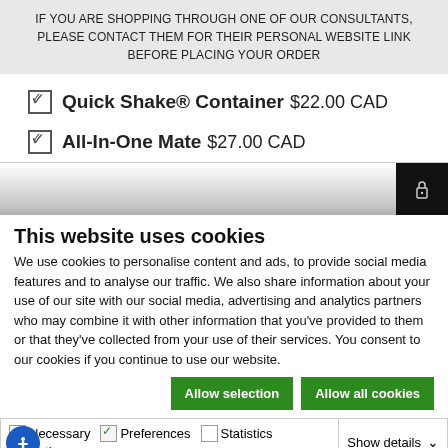IF YOU ARE SHOPPING THROUGH ONE OF OUR CONSULTANTS, PLEASE CONTACT THEM FOR THEIR PERSONAL WEBSITE LINK BEFORE PLACING YOUR ORDER
☑ Quick Shake® Container  $22.00 CAD
☑ All-In-One Mate  $27.00 CAD
This website uses cookies
We use cookies to personalise content and ads, to provide social media features and to analyse our traffic. We also share information about your use of our site with our social media, advertising and analytics partners who may combine it with other information that you've provided to them or that they've collected from your use of their services. You consent to our cookies if you continue to use our website.
Allow selection   Allow all cookies
Necessary  Preferences  Statistics  Marketing  Show details